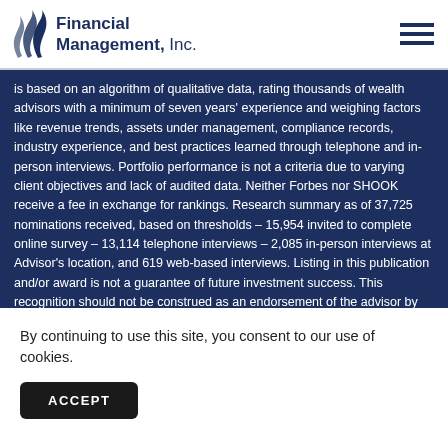Financial Management, Inc.
is based on an algorithm of qualitative data, rating thousands of wealth advisors with a minimum of seven years' experience and weighing factors like revenue trends, assets under management, compliance records, industry experience, and best practices learned through telephone and in-person interviews. Portfolio performance is not a criteria due to varying client objectives and lack of audited data. Neither Forbes nor SHOOK receive a fee in exchange for rankings. Research summary as of 37,725 nominations received, based on thresholds – 15,954 invited to complete online survey – 13,114 telephone interviews – 2,085 in-person interviews at Advisor's location, and 619 web-based interviews. Listing in this publication and/or award is not a guarantee of future investment success. This recognition should not be construed as an endorsement of the advisor by any client. Barron's Magazine Hall of Fame Inductee – Ron Carson, October 20, 2014 issue. Advisors inducted into the Hall of Fame include those who were recipients of the Barron's Top 100 Independent Advisors...
By continuing to use this site, you consent to our use of cookies.